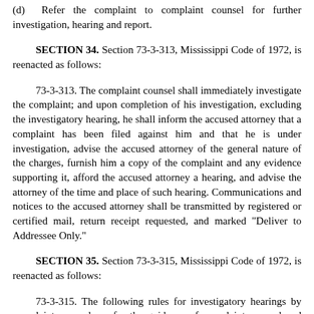(d)  Refer the complaint to complaint counsel for further investigation, hearing and report.
SECTION 34.  Section 73-3-313, Mississippi Code of 1972, is reenacted as follows:
73-3-313.  The complaint counsel shall immediately investigate the complaint; and upon completion of his investigation, excluding the investigatory hearing, he shall inform the accused attorney that a complaint has been filed against him and that he is under investigation, advise the accused attorney of the general nature of the charges, furnish him a copy of the complaint and any evidence supporting it, afford the accused attorney a hearing, and advise the attorney of the time and place of such hearing.  Communications and notices to the accused attorney shall be transmitted by registered or certified mail, return receipt requested, and marked "Deliver to Addressee Only."
SECTION 35.  Section 73-3-315, Mississippi Code of 1972, is reenacted as follows:
73-3-315.  The following rules for investigatory hearings by complaint counsel are for the guidance of complaint counsel and shall be strictly followed:
(a)  The complainant is not a party to the proceeding and has